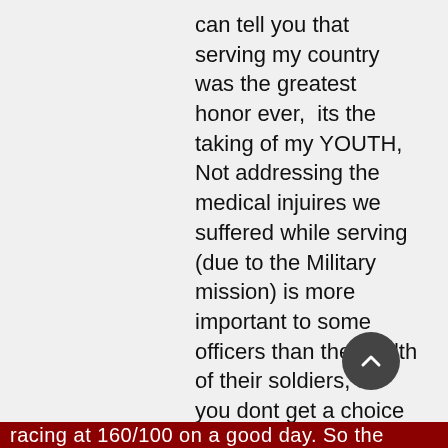can tell you that serving my country was the greatest honor ever,  its the taking of my YOUTH, Not addressing the medical injuires we suffered while serving (due to the Military mission) is more important to some officers than the health of their soldiers, so you dont get a choice when you are in a Certification mission you live eat and breath the Certification, health who cares about health, then you get out Honorable and with a ton of medals and awards only to be  treated like a crininal and also being told its in your head.  If the VA  would have treated me in the earlier stages I would not be now Home cared for, Bleeding all over and around, unable to eat solid foods, and unable to  gain weight due to pain of eating solids and now only liquid. And your heart
racing at 160/100 on a good day. So the